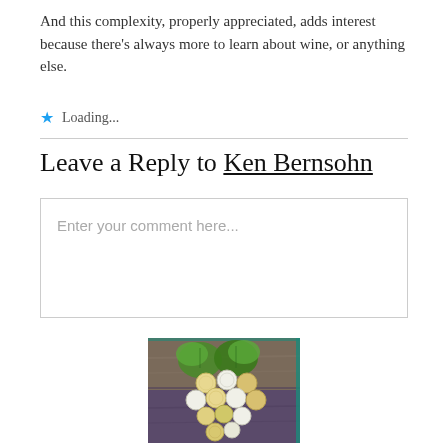And this complexity, properly appreciated, adds interest because there's always more to learn about wine, or anything else.
★ Loading...
Leave a Reply to Ken Bernsohn
Enter your comment here...
[Figure (photo): Coins arranged in the shape of a grape cluster with green grape leaves on top, placed on a weathered wooden surface.]